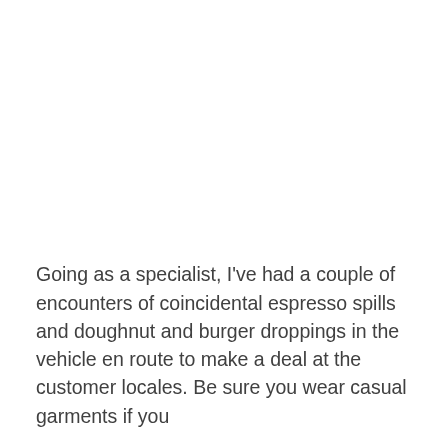Going as a specialist, I've had a couple of encounters of coincidental espresso spills and doughnut and burger droppings in the vehicle en route to make a deal at the customer locales. Be sure you wear casual garments if you